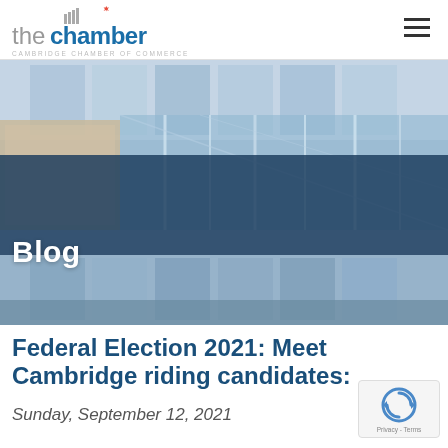the chamber CAMBRIDGE CHAMBER OF COMMERCE
[Figure (photo): Glass facade of a modern commercial building photographed from a low angle, with a dark navy blue semi-transparent overlay across the middle portion of the image containing the word 'Blog']
Federal Election 2021: Meet Cambridge riding candidates:
Sunday, September 12, 2021